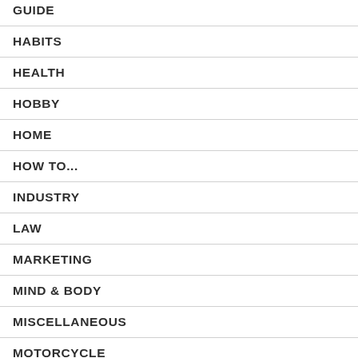GUIDE
HABITS
HEALTH
HOBBY
HOME
HOW TO...
INDUSTRY
LAW
MARKETING
MIND & BODY
MISCELLANEOUS
MOTORCYCLE